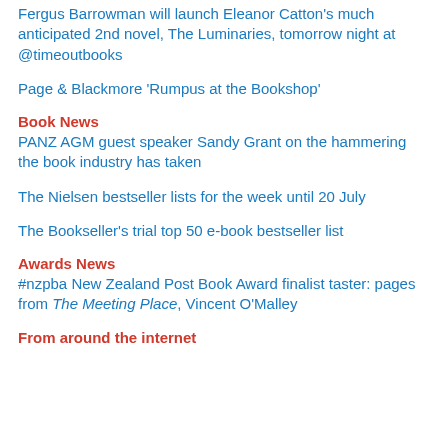Fergus Barrowman will launch Eleanor Catton's much anticipated 2nd novel, The Luminaries, tomorrow night at @timeoutbooks
Page & Blackmore 'Rumpus at the Bookshop'
Book News
PANZ AGM guest speaker Sandy Grant on the hammering the book industry has taken
The Nielsen bestseller lists for the week until 20 July
The Bookseller's trial top 50 e-book bestseller list
Awards News
#nzpba New Zealand Post Book Award finalist taster: pages from The Meeting Place, Vincent O'Malley
From around the internet